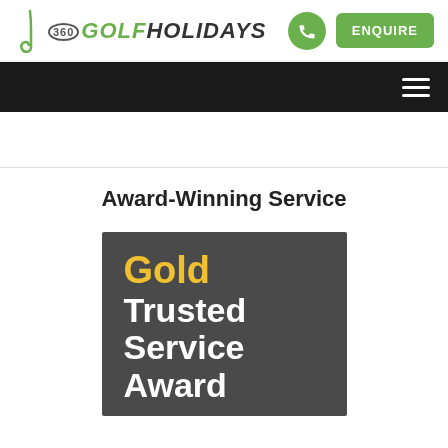360 GOLF HOLIDAYS | ENQUIRE
Award-Winning Service
[Figure (logo): Gold Trusted Service Award badge on dark grey background with gold 'Gold' text and white 'Trusted Service Award' text]